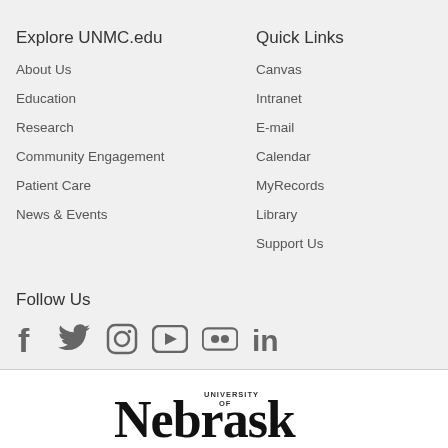Explore UNMC.edu
About Us
Education
Research
Community Engagement
Patient Care
News & Events
Quick Links
Canvas
Intranet
E-mail
Calendar
MyRecords
Library
Support Us
Follow Us
[Figure (other): Social media icons: Facebook, Twitter, Instagram, YouTube, Flickr, LinkedIn]
[Figure (logo): University of Nebraska UNMC logo — large serif Nebraska text with 'UNIVERSITY OF' text integrated]